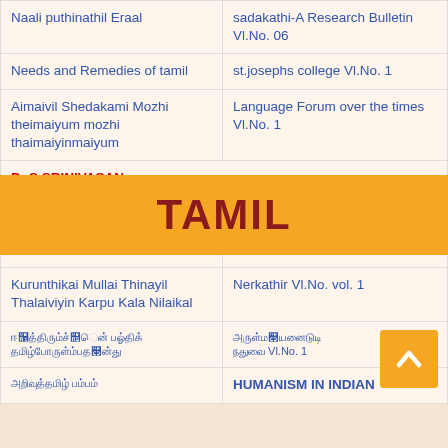TAMIL
| Title | Publication |
| --- | --- |
| Naali puthinathil Eraal | sadakathi-A Research Bulletin Vl.No. 06 |
| Needs and Remedies of tamil | st.josephs college Vl.No. 1 |
| Aimaivil Shedakami Mozhi theimaiyum mozhi thaimaiyinmaiyum | Language Forum over the times Vl.No. 1 |
| Dr.S.SRINIVASAN |  |
| Tamil language teaching and techniques through fine arts activities | shanlax journal Vl.No. Vol., No.3, |
| Kurunthikai Mullai Thinayil Thalaiviyin Karpu Kala Nilaikal | Nerkathir Vl.No. vol. 1 |
| [Tamil] [Tamil] | [Tamil] Vl.No. 1 |
| [Tamil] | HUMANISM IN INDIAN |